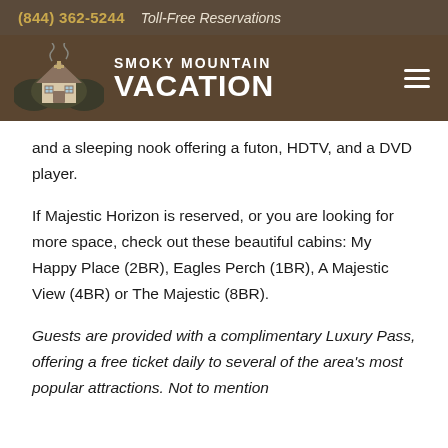(844) 362-5244   Toll-Free Reservations
[Figure (logo): Smoky Mountain Vacation logo with cabin illustration and text 'SMOKY MOUNTAIN VACATION']
and a sleeping nook offering a futon, HDTV, and a DVD player.
If Majestic Horizon is reserved, or you are looking for more space, check out these beautiful cabins: My Happy Place (2BR), Eagles Perch (1BR), A Majestic View (4BR) or The Majestic (8BR).
Guests are provided with a complimentary Luxury Pass, offering a free ticket daily to several of the area's most popular attractions. Not to mention